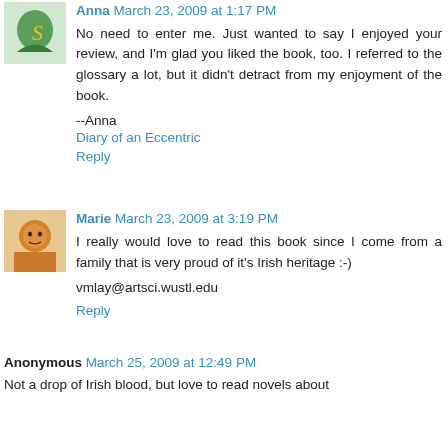Anna March 23, 2009 at 1:17 PM
No need to enter me. Just wanted to say I enjoyed your review, and I'm glad you liked the book, too. I referred to the glossary a lot, but it didn't detract from my enjoyment of the book.

--Anna
Diary of an Eccentric
Reply
Marie March 23, 2009 at 3:19 PM
I really would love to read this book since I come from a family that is very proud of it's Irish heritage :-)

vmlay@artsci.wustl.edu
Reply
Anonymous March 25, 2009 at 12:49 PM
Not a drop of Irish blood, but love to read novels about